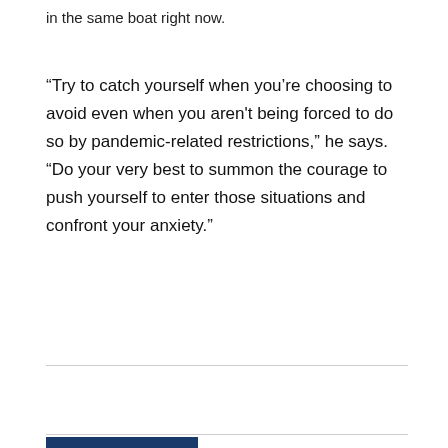in the same boat right now.
“Try to catch yourself when you’re choosing to avoid even when you aren’t being forced to do so by pandemic-related restrictions,” he says. “Do your very best to summon the courage to push yourself to enter those situations and confront your anxiety.”
[Figure (other): Facebook Like button showing 'Like 0']
RELATED ARTICLES
MORE FROM AUTHOR
6 Good Reasons To Try Blue Light...